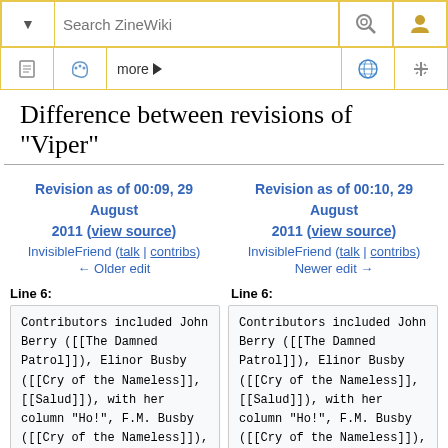Search ZineWiki toolbar
Difference between revisions of "Viper"
Revision as of 00:09, 29 August 2011 (view source)
InvisibleFriend (talk | contribs)
← Older edit
Revision as of 00:10, 29 August 2011 (view source)
InvisibleFriend (talk | contribs)
Newer edit →
Line 6:
Line 6:
Contributors included John Berry ([[The Damned Patrol]]), Elinor Busby ([[Cry of the Nameless]], [[Salud]]), with her column "Ho!", F.M. Busby ([[Cry of the Nameless]]), Terry
Contributors included John Berry ([[The Damned Patrol]]), Elinor Busby ([[Cry of the Nameless]], [[Salud]]), with her column "Ho!", F.M. Busby ([[Cry of the Nameless]]), Terry